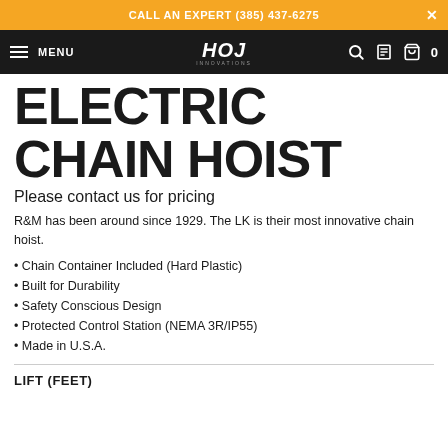CALL AN EXPERT (385) 437-6275
HOJ MENU
ELECTRIC CHAIN HOIST
Please contact us for pricing
R&M has been around since 1929. The LK is their most innovative chain hoist.
Chain Container Included (Hard Plastic)
Built for Durability
Safety Conscious Design
Protected Control Station (NEMA 3R/IP55)
Made in U.S.A.
LIFT (FEET)